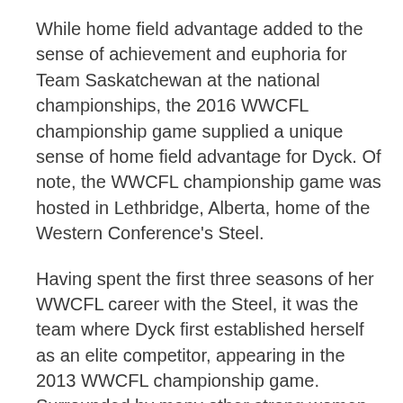While home field advantage added to the sense of achievement and euphoria for Team Saskatchewan at the national championships, the 2016 WWCFL championship game supplied a unique sense of home field advantage for Dyck. Of note, the WWCFL championship game was hosted in Lethbridge, Alberta, home of the Western Conference's Steel.
Having spent the first three seasons of her WWCFL career with the Steel, it was the team where Dyck first established herself as an elite competitor, appearing in the 2013 WWCFL championship game. Surrounded by many other strong women that would be her mentors, those formative years with the Steel not only helped shape her confidence, it was the introduction to an intriguing chapter in female sporting Canadiana. Undoubtedly, the Steel shall always hold a special place in her heart and to be able to return to the scene of so many of her initial gridiron glories represented a special